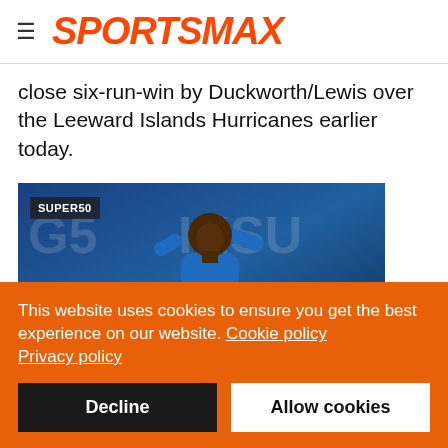SPORTSMAX
close six-run-win by Duckworth/Lewis over the Leeward Islands Hurricanes earlier today.
[Figure (photo): Cricket player in blue uniform with SUPER50 badge overlay in upper left corner]
This website uses cookies to ensure you get the best experience on our website. Cookie policy Privacy policy Decline Allow cookies